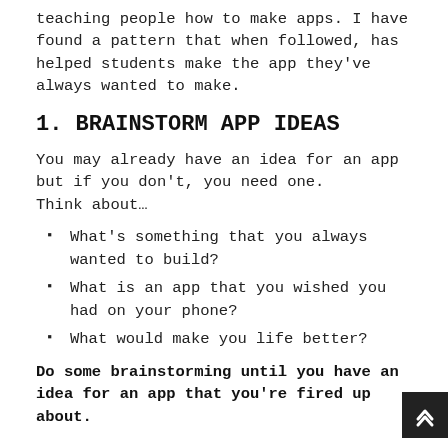teaching people how to make apps. I have found a pattern that when followed, has helped students make the app they've always wanted to make.
1. BRAINSTORM APP IDEAS
You may already have an idea for an app but if you don't, you need one.
Think about…
What's something that you always wanted to build?
What is an app that you wished you had on your phone?
What would make you life better?
Do some brainstorming until you have an idea for an app that you're fired up about.